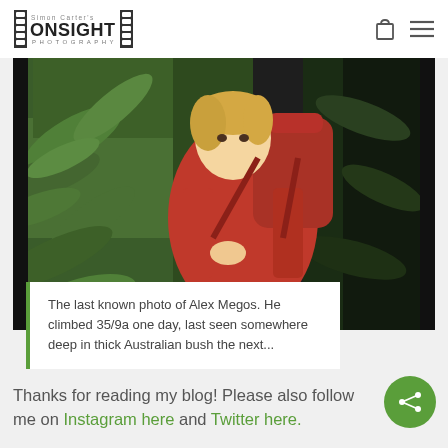Simon Carter's ONSIGHT PHOTOGRAPHY
[Figure (photo): A young boy with blonde hair wearing a red jacket and carrying a large red backpack, surrounded by dense green Australian bush/ferns. This is described as the last known photo of Alex Megos.]
The last known photo of Alex Megos. He climbed 35/9a one day, last seen somewhere deep in thick Australian bush the next...
Thanks for reading my blog! Please also follow me on Instagram here and Twitter here.